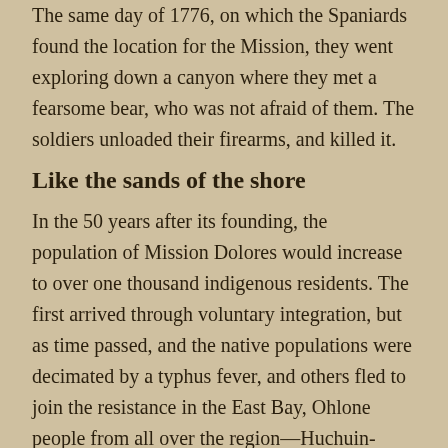The same day of 1776, on which the Spaniards found the location for the Mission, they went exploring down a canyon where they met a fearsome bear, who was not afraid of them. The soldiers unloaded their firearms, and killed it.
Like the sands of the shore
In the 50 years after its founding, the population of Mission Dolores would increase to over one thousand indigenous residents. The first arrived through voluntary integration, but as time passed, and the native populations were decimated by a typhus fever, and others fled to join the resistance in the East Bay, Ohlone people from all over the region—Huchuin-Aguastos and Carquins, Coast Miwoks, Suisuns, Napas, Ululatos and Canicaymos—were forcefully bound to the Mission production system.